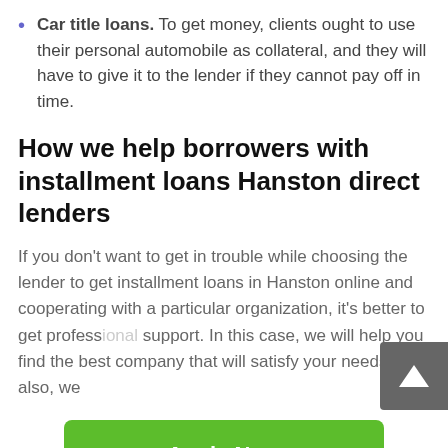Car title loans. To get money, clients ought to use their personal automobile as collateral, and they will have to give it to the lender if they cannot pay off in time.
How we help borrowers with installment loans Hanston direct lenders
If you don't want to get in trouble while choosing the lender to get installment loans in Hanston online and cooperating with a particular organization, it's better to get professional support. In this case, we will help you find the best company that will satisfy your needs. And also, we
Apply Now
Applying does NOT affect your credit score!
No credit check to apply.